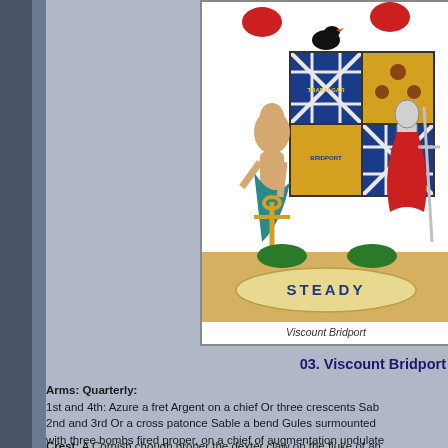[Figure (illustration): Coloured heraldic coat of arms illustration for Viscount Bridport, showing two supporters (a muscular male figure with anchor on the left, and a figure in armour on the right), with a quartered shield displaying blue and gold heraldic designs, and a scroll at the bottom reading STEADY.]
Viscount Bridport
03. Viscount Bridport
Arms: Quarterly:
1st and 4th: Azure a fret Argent on a chief Or three crescents Sab
2nd and 3rd Or a cross patonce Sable a bend Gules surmounted
with three bombs fired proper, on a chief of augmentation undulate
a palm tree issuant between disabled ship on the dexter and a ba
overall a fess wavy Azure thereon inscribed the word TRAFALGAI
Crest: A Cornish chough proper the dexter claw on the fluke of an